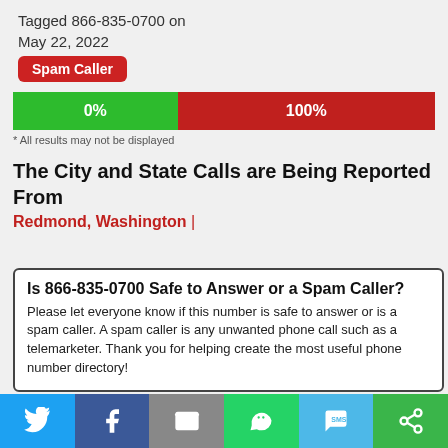Tagged 866-835-0700 on May 22, 2022
Spam Caller
[Figure (bar-chart): Safe vs Spam votes]
* All results may not be displayed
The City and State Calls are Being Reported From
Redmond, Washington |
Is 866-835-0700 Safe to Answer or a Spam Caller?
Please let everyone know if this number is safe to answer or is a spam caller. A spam caller is any unwanted phone call such as a telemarketer. Thank you for helping create the most useful phone number directory!
[Figure (infographic): Social share buttons: Twitter, Facebook, Email, WhatsApp, SMS, Copy]